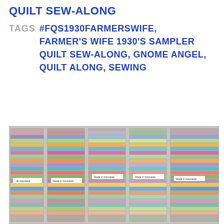QUILT SEW-ALONG
TAGS  #FQS1930FARMERSWIFE, FARMER'S WIFE 1930'S SAMPLER QUILT SEW-ALONG, GNOME ANGEL, QUILT ALONG, SEWING
[Figure (photo): Four stacks of colorful fabric strips (jelly rolls / batik strips) packaged in clear plastic, each labeled 'Made in Indonesia', showing various patterned and colorful fabrics.]